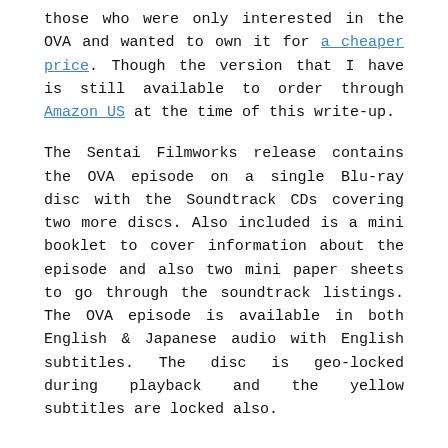those who were only interested in the OVA and wanted to own it for a cheaper price. Though the version that I have is still available to order through Amazon US at the time of this write-up.
The Sentai Filmworks release contains the OVA episode on a single Blu-ray disc with the Soundtrack CDs covering two more discs. Also included is a mini booklet to cover information about the episode and also two mini paper sheets to go through the soundtrack listings. The OVA episode is available in both English & Japanese audio with English subtitles. The disc is geo-locked during playback and the yellow subtitles are locked also.
BLU-RAY SPECS:
Languages: English, Japanese